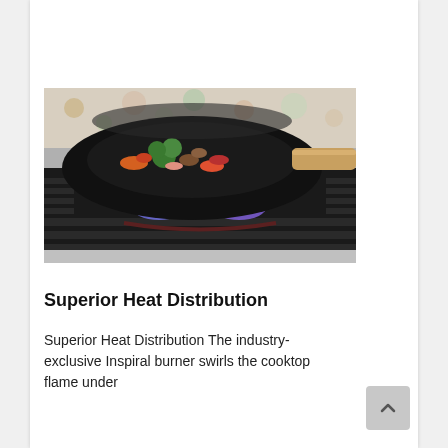[Figure (photo): A black wok containing stir-fried vegetables (broccoli, carrots, peppers, mushrooms) on a gas cooktop with visible blue flames underneath, shot from the front. A wooden handle is visible on the right side of the wok.]
Superior Heat Distribution
Superior Heat Distribution The industry-exclusive Inspiral burner swirls the cooktop flame under